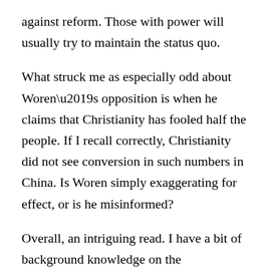against reform. Those with power will usually try to maintain the status quo.
What struck me as especially odd about Woren’s opposition is when he claims that Christianity has fooled half the people. If I recall correctly, Christianity did not see conversion in such numbers in China. Is Woren simply exaggerating for effect, or is he misinformed?
Overall, an intriguing read. I have a bit of background knowledge on the industrialization of Britain, the rest of Europe, Russia, and the United States. I was aware